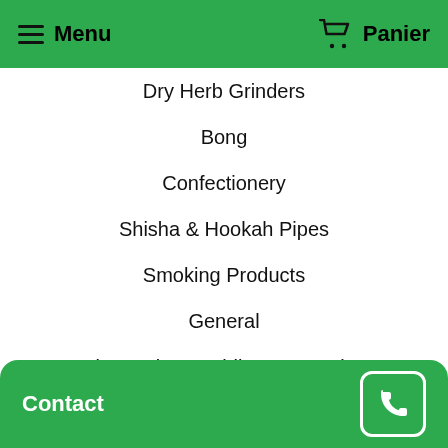Menu   Panier
Dry Herb Grinders
Bong
Confectionery
Shisha & Hookah Pipes
Smoking Products
General
Electronic & Mobile Accessories
Chargers
Special Offers
CBD Conditions
All products listed on this website are not intended to diagnose, treat or cure any disease. It is recommended to check
Contact